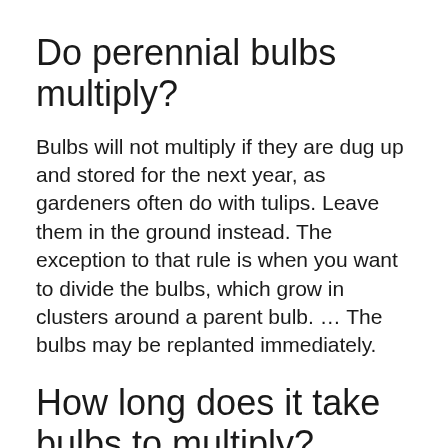Do perennial bulbs multiply?
Bulbs will not multiply if they are dug up and stored for the next year, as gardeners often do with tulips. Leave them in the ground instead. The exception to that rule is when you want to divide the bulbs, which grow in clusters around a parent bulb. … The bulbs may be replanted immediately.
How long does it take bulbs to multiply?
Smaller bulbs may take two to four years to flower from offsets, but larger bulbs (Cardiocrinum giganteum, for example) may take five to...